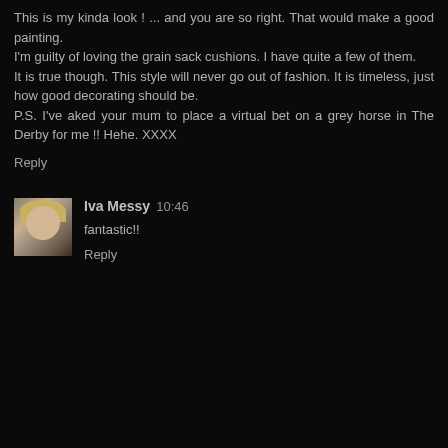This is my kinda look ! ... and you are so right. That would make a good painting.
I'm guilty of loving the grain sack cushions. I have quite a few of them.
It is true though. This style will never go out of fashion. It is timeless, just how good decorating should be.
P.S. I've aked your mum to place a virtual bet on a grey horse in The Derby for me !! Hehe. XXXX
Reply
[Figure (photo): Small avatar photo of a blonde woman]
Iva Messy  10:46
fantastic!!
Reply